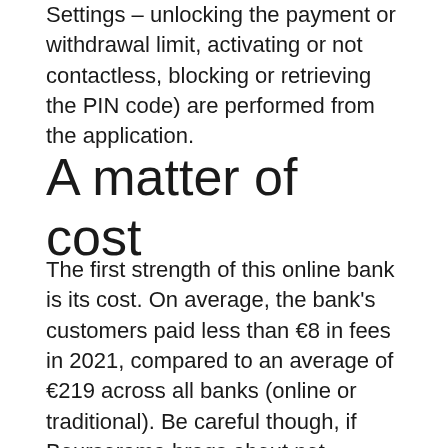Settings – unlocking the payment or withdrawal limit, activating or not contactless, blocking or retrieving the PIN code) are performed from the application.
A matter of cost
The first strength of this online bank is its cost. On average, the bank's customers paid less than €8 in fees in 2021, compared to an average of €219 across all banks (online or traditional). Be careful though, if Boursorama brags about not charging its customers entry fees or direct withdrawals of earnings, you still need to use the card linked to your account at least once a month (for a payment or for a withdrawal) to avoid making a payment an account maintenance